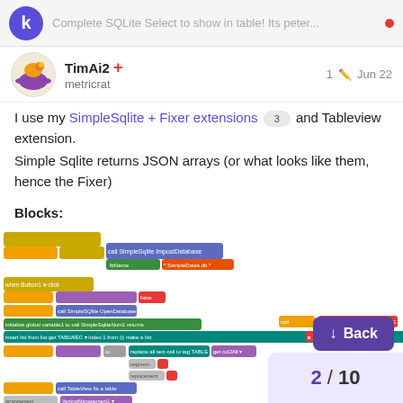Complete SQLite Select to show in table! Its peter...
TimAi2 + metricrat  1  Jun 22
I use my SimpleSqlite + Fixer extensions 3 and Tableview extension.
Simple Sqlite returns JSON arrays (or what looks like them, hence the Fixer)
Blocks:
[Figure (screenshot): Screenshot of block-based programming code blocks for SQLite database operations including OpenDatabase, query, text replacement, and table management blocks.]
Back
2 / 10